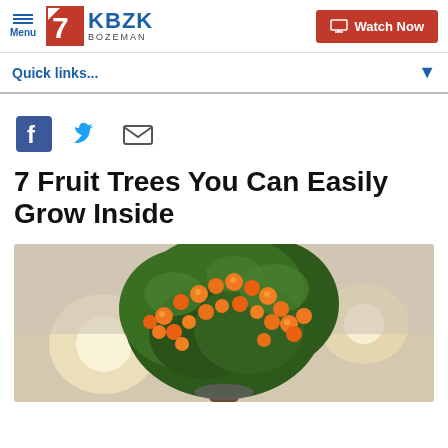Menu | 7 KBZK BOZEMAN | Watch Now
Quick links...
[Figure (other): Social share icons: Facebook, Twitter, Email]
7 Fruit Trees You Can Easily Grow Inside
[Figure (photo): Photo of an indoor potted citrus/kumquat tree with many orange fruits and green leaves, blurred interior background]